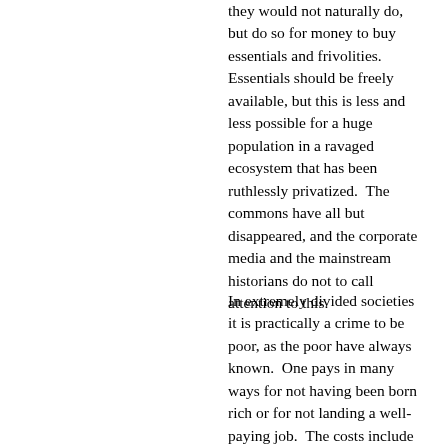they would not naturally do, but do so for money to buy essentials and frivolities.  Essentials should be freely available, but this is less and less possible for a huge population in a ravaged ecosystem that has been ruthlessly privatized.  The commons have all but disappeared, and the corporate media and the mainstream historians do not to call attention to this.
In extremely divided societies it is practically a crime to be poor, as the poor have always known.  One pays in many ways for not having been born rich or for not landing a well-paying job.  The costs include inadequate